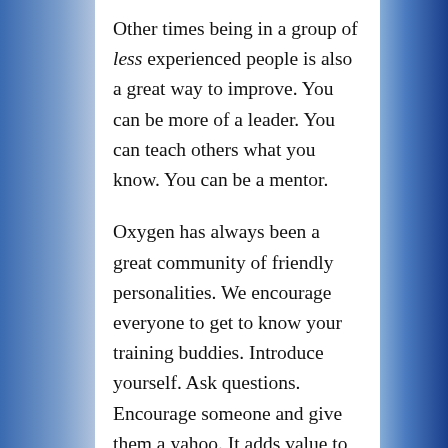Other times being in a group of less experienced people is also a great way to improve. You can be more of a leader. You can teach others what you know. You can be a mentor.
Oxygen has always been a great community of friendly personalities. We encourage everyone to get to know your training buddies. Introduce yourself. Ask questions. Encourage someone and give them a yahoo. It adds value to our community and everybody wins in the long run. Conversely, if you stick to